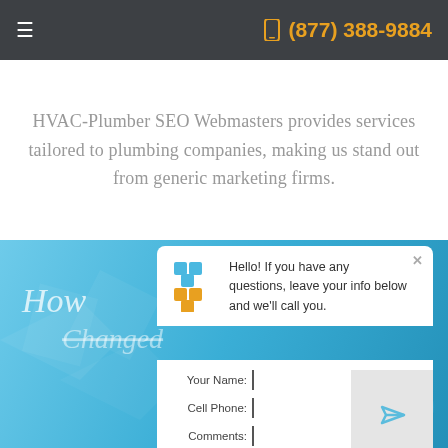≡   (877) 388-9884
HVAC-Plumber SEO Webmasters provides services tailored to plumbing companies, making us stand out from generic marketing firms.
[Figure (screenshot): Blue section with geometric diamond decorations, partial text 'How' and 'Changed' visible, overlaid with a chat widget popup containing a logo, greeting message, and contact form with fields for Your Name, Cell Phone, and Comments, plus a send button area]
Hello! If you have any questions, leave your info below and we'll call you.
Your Name:
Cell Phone:
Comments: